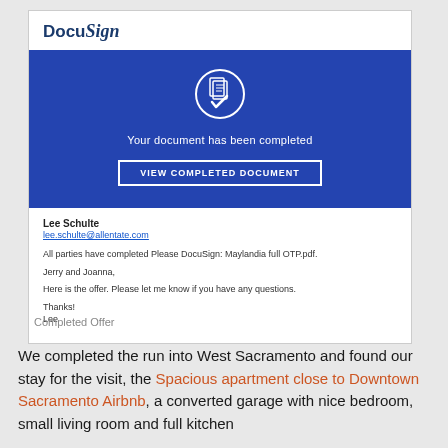[Figure (screenshot): DocuSign email notification screenshot showing blue banner with document completed icon, 'Your document has been completed' message, 'VIEW COMPLETED DOCUMENT' button, sender Lee Schulte with email lee.schulte@allentate.com, and message body about completing a DocuSign document.]
Completed Offer
We completed the run into West Sacramento and found our stay for the visit, the Spacious apartment close to Downtown Sacramento Airbnb, a converted garage with nice bedroom, small living room and full kitchen